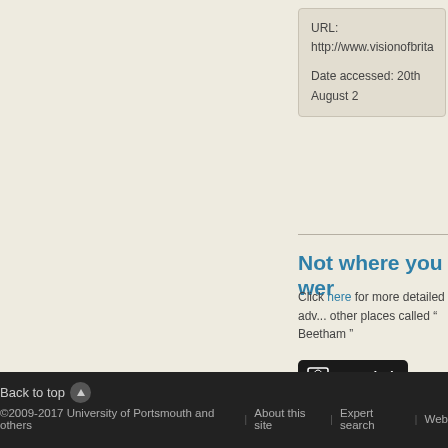URL: http://www.visionofbrita...
Date accessed: 20th August 2...
Not where you we...
Click here for more detailed adv... other places called " Beetham "
[Figure (logo): Cassini historical maps logo — black rounded rectangle with hourglass icon and 'cassini' text in white italic]
To buy historical maps of Beetha... here!
Back to top | ©2009-2017 University of Portsmouth and others | About this site | Expert search | Web